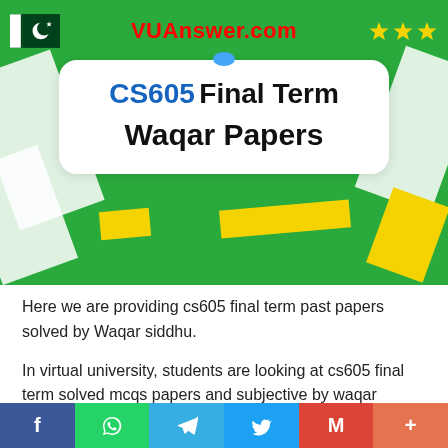[Figure (infographic): Green banner with Pakistan flag, VUAnswer.com branding, gold stars, white diagonal shapes, yellow accent shapes, and a white rounded card showing 'CS605 Final Term Waqar Papers']
Here we are providing cs605 final term past papers solved by Waqar siddhu.
In virtual university, students are looking at cs605 final term solved mcqs papers and subjective by waqar siddhu mega file to prepare their final exam that will be held by the virtual university in every semester.